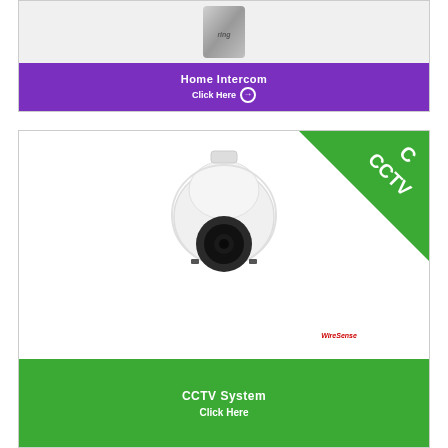[Figure (photo): Home intercom device (Ring-style) shown at top of card with white/gray background]
Home Intercom
Click Here →
[Figure (photo): CCTV dome camera with green triangle badge in top-right corner reading CCTV, WireSense logo below camera]
CCTV System
Click Here